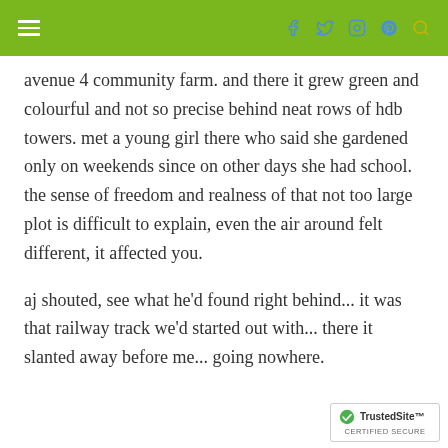[Navigation bar with hamburger menu, Facebook, Twitter, Instagram, Pinterest, Search icons]
and the authorities relented. the map of the avenue 4 community farm. and there it grew green and colourful and not so precise behind neat rows of hdb towers. met a young girl there who said she gardened only on weekends since on other days she had school. the sense of freedom and realness of that not too large plot is difficult to explain, even the air around felt different, it affected you.
aj shouted, see what he'd found right behind... it was that railway track we'd started out with... there it slanted away before me... going nowhere.